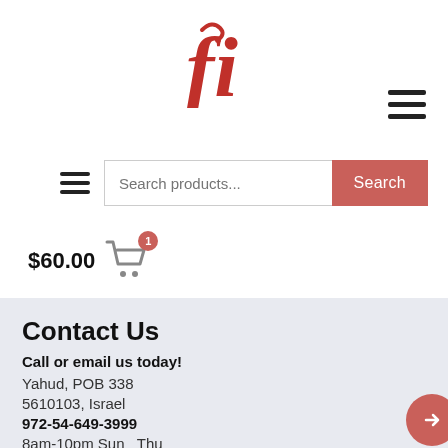[Figure (logo): Red stylized 'fi' logo with a fish hook on the letter f]
[Figure (illustration): Hamburger menu icon (three horizontal lines) top right]
[Figure (other): Search bar row with hamburger icon, 'Search products...' input and red Search button]
$60.00
[Figure (illustration): Shopping cart icon with red badge showing '1']
Contact Us
Call or email us today!
Yahud, POB 338
5610103, Israel
972-54-649-3999
8am-10pm Sun  Thu